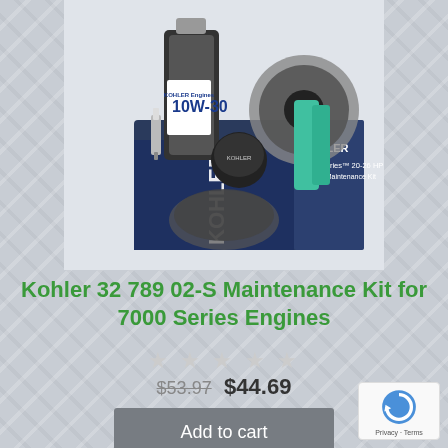[Figure (photo): Kohler 7000 Series Engine Maintenance Kit product photo showing a box with oil bottle (10W-30), air filter, oil filter, and spark plug components]
Kohler 32 789 02-S Maintenance Kit for 7000 Series Engines
★★★★★ (star rating, unrated/empty stars)
$53.97  $44.69
Add to cart